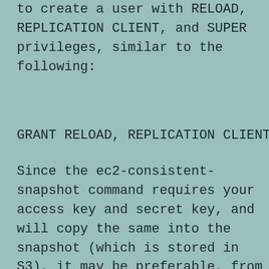to create a user with RELOAD, REPLICATION CLIENT, and SUPER privileges, similar to the following:
Since the ec2-consistent-snapshot command requires your access key and secret key, and will copy the same into the snapshot (which is stored in S3), it may be preferable, from a security standpoint, to create a user (with limited privileges that can create snapshots) via AWS Identity and Access Management (IAM) specially for this task.